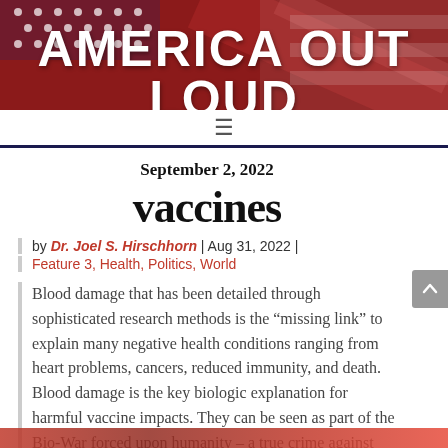AMERICA OUT LOUD
September 2, 2022
vaccines
by Dr. Joel S. Hirschhorn | Aug 31, 2022 | Feature 3, Health, Politics, World
Blood damage that has been detailed through sophisticated research methods is the “missing link” to explain many negative health conditions ranging from heart problems, cancers, reduced immunity, and death. Blood damage is the key biologic explanation for harmful vaccine impacts. They can be seen as part of the Bio-War forced upon humanity – a true crime against humanity...